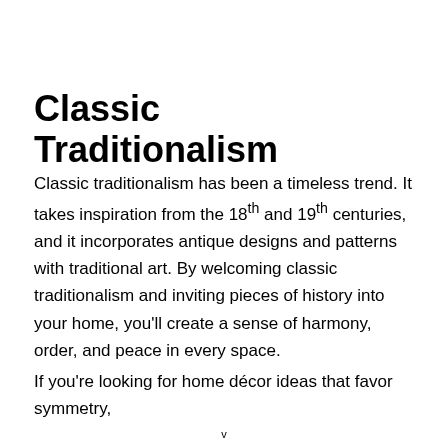Classic Traditionalism
Classic traditionalism has been a timeless trend. It takes inspiration from the 18th and 19th centuries, and it incorporates antique designs and patterns with traditional art. By welcoming classic traditionalism and inviting pieces of history into your home, you'll create a sense of harmony, order, and peace in every space.
If you're looking for home décor ideas that favor symmetry,
v